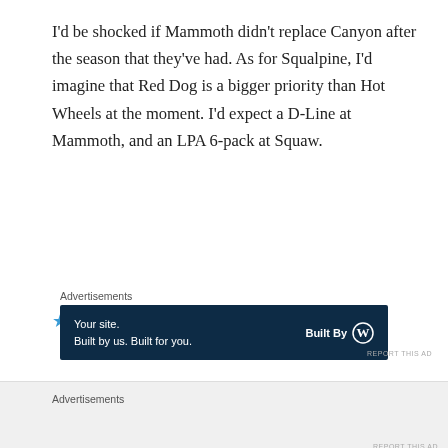I'd be shocked if Mammoth didn't replace Canyon after the season that they've had. As for Squalpine, I'd imagine that Red Dog is a bigger priority than Hot Wheels at the moment. I'd expect a D-Line at Mammoth, and an LPA 6-pack at Squaw.
★ Like
↩ Reply
Advertisements
[Figure (screenshot): WordPress 'Built By' dark blue advertisement banner: 'Your site. Built by us. Built for you.']
REPORT THIS AD
Advertisements
[Figure (screenshot): Seamless food delivery advertisement with pizza image, seamless logo, and ORDER NOW button]